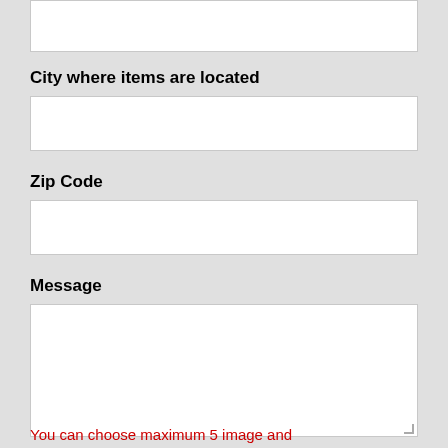[Figure (screenshot): Empty white input text box at the top of the form]
City where items are located
[Figure (screenshot): Empty white input text box for City field]
Zip Code
[Figure (screenshot): Empty white input text box for Zip Code field]
Message
[Figure (screenshot): Empty white textarea for Message field with resize handle]
You can choose maximum 5 image and